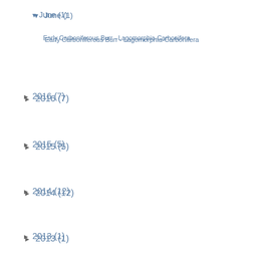▼ June (1)
Early Carboniferous Burr - Lagomorphia-Carbonifera
► 2016 (7)
► 2015 (5)
► 2014 (12)
► 2013 (1)
► 2012 (4)
► 2010 (1)
► 2009 (1)
RECENT POSTS
TEXT WIDGET